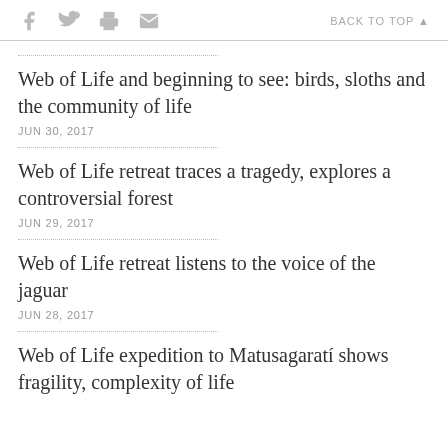f [twitter] [print] [email]   BACK TO TOP ▲
Web of Life and beginning to see: birds, sloths and the community of life
JUN 30, 2017
Web of Life retreat traces a tragedy, explores a controversial forest
JUN 29, 2017
Web of Life retreat listens to the voice of the jaguar
JUN 28, 2017
Web of Life expedition to Matusagaratí shows fragility, complexity of life